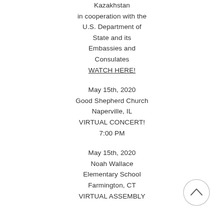Kazakhstan
in cooperation with the
U.S. Department of
State and its
Embassies and
Consulates
WATCH HERE!
May 15th, 2020
Good Shepherd Church
Naperville, IL
VIRTUAL CONCERT!
7:00 PM
May 15th, 2020
Noah Wallace
Elementary School
Farmington, CT
VIRTUAL ASSEMBLY